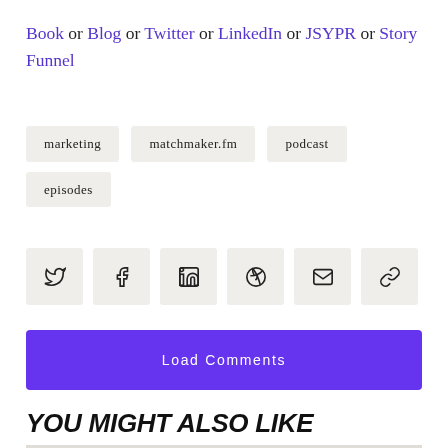Book or Blog or Twitter or LinkedIn or JSYPR or Story Funnel
marketing
matchmaker.fm
podcast
episodes
[Figure (other): Row of social share buttons: Twitter, Facebook, LinkedIn, Pinterest, Email, Link/Copy]
Load Comments
YOU MIGHT ALSO LIKE